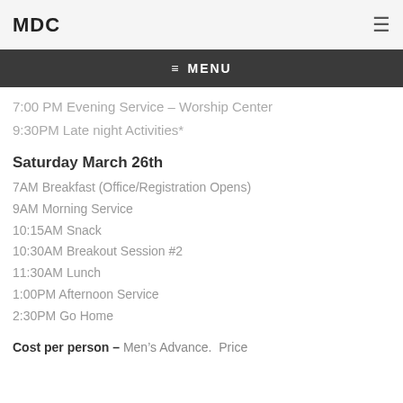MDC
Miss Registration Opens
7:00PM Breakout Session #1
≡ MENU
7:00 PM Evening Service – Worship Center
9:30PM Late night Activities*
Saturday March 26th
7AM Breakfast (Office/Registration Opens)
9AM Morning Service
10:15AM Snack
10:30AM Breakout Session #2
11:30AM Lunch
1:00PM Afternoon Service
2:30PM Go Home
Cost per person – Men's Advance.  Price